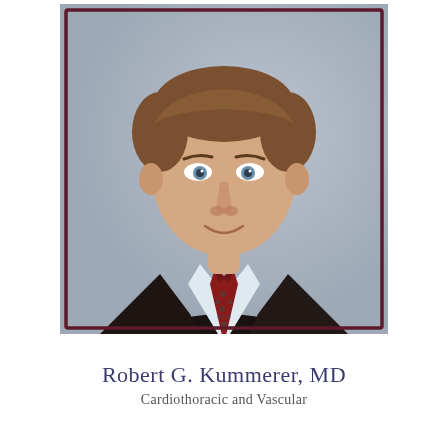[Figure (photo): Professional headshot portrait of Robert G. Kummerer, MD. A middle-aged man with short brown hair and blue eyes, wearing a dark suit jacket, light blue dress shirt, and red tie with small dot pattern. Background is a neutral grey studio backdrop. Photo is framed with a dark maroon/burgundy rectangular border.]
Robert G. Kummerer, MD
Cardiothoracic and Vascular